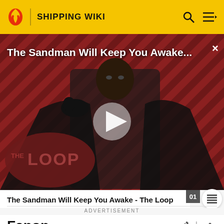SHIPPING WIKI
[Figure (screenshot): Video thumbnail for 'The Sandman Will Keep You Awake... - The Loop' showing a dark-cloaked figure against a red and black diagonal striped background, with a play button overlay and 'THE LOOP' badge in lower left]
The Sandman Will Keep You Awake - The Loop
ADVERTISEMENT
Fanon